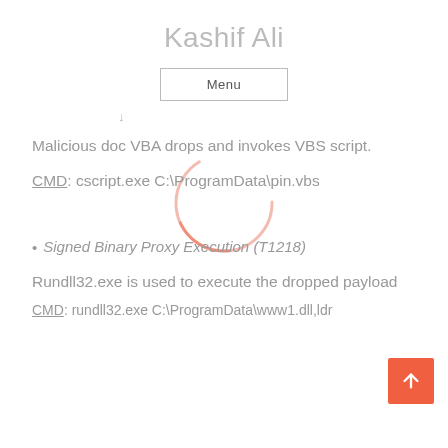Kashif Ali
Menu
↓
Malicious doc VBA drops and invokes VBS script.
CMD: cscript.exe C:\ProgramData\pin.vbs
Signed Binary Proxy Execution (T1218)
Rundll32.exe is used to execute the dropped payload
CMD: rundll32.exe C:\ProgramData\www1.dll,ldr